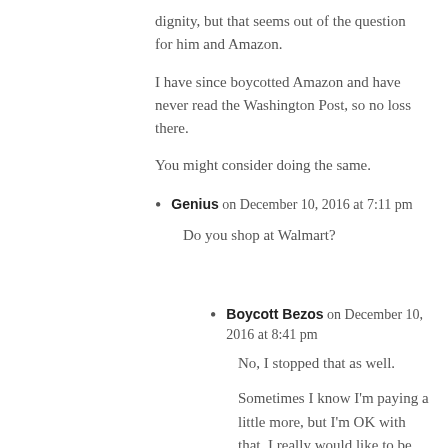dignity, but that seems out of the question for him and Amazon.

I have since boycotted Amazon and have never read the Washington Post, so no loss there.

You might consider doing the same.
Genius on December 10, 2016 at 7:11 pm
Do you shop at Walmart?
Boycott Bezos on December 10, 2016 at 8:41 pm
No, I stopped that as well.
Sometimes I know I'm paying a little more, but I'm OK with that. I really would like to be able to support more local businesses but truth be told, there simply aren't many in my area.